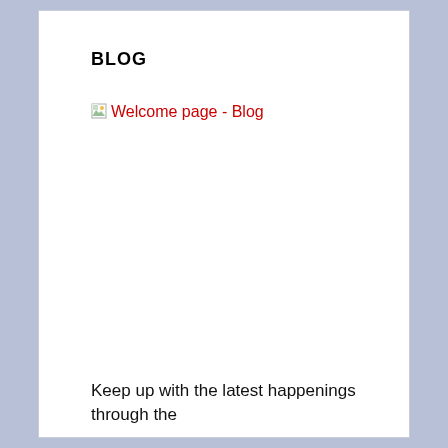BLOG
[Figure (screenshot): Broken image placeholder with alt text 'Welcome page - Blog' shown in red text with a small broken image icon]
Keep up with the latest happenings through the